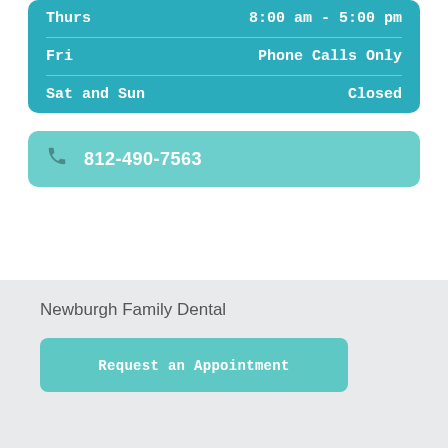| Day | Hours |
| --- | --- |
| Thurs | 8:00 am - 5:00 pm |
| Fri | Phone Calls Only |
| Sat and Sun | Closed |
812-490-7563
Newburgh Family Dental
Request an Appointment